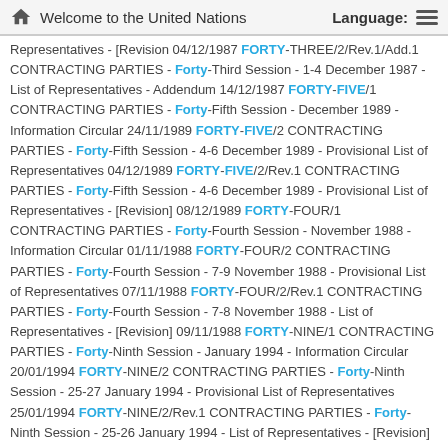Welcome to the United Nations
Representatives - [Revision 04/12/1987 FORTY-THREE/2/Rev.1/Add.1 CONTRACTING PARTIES - Forty-Third Session - 1-4 December 1987 - List of Representatives - Addendum 14/12/1987 FORTY-FIVE/1 CONTRACTING PARTIES - Forty-Fifth Session - December 1989 - Information Circular 24/11/1989 FORTY-FIVE/2 CONTRACTING PARTIES - Forty-Fifth Session - 4-6 December 1989 - Provisional List of Representatives 04/12/1989 FORTY-FIVE/2/Rev.1 CONTRACTING PARTIES - Forty-Fifth Session - 4-6 December 1989 - Provisional List of Representatives - [Revision] 08/12/1989 FORTY-FOUR/1 CONTRACTING PARTIES - Forty-Fourth Session - November 1988 - Information Circular 01/11/1988 FORTY-FOUR/2 CONTRACTING PARTIES - Forty-Fourth Session - 7-9 November 1988 - Provisional List of Representatives 07/11/1988 FORTY-FOUR/2/Rev.1 CONTRACTING PARTIES - Forty-Fourth Session - 7-8 November 1988 - List of Representatives - [Revision] 09/11/1988 FORTY-NINE/1 CONTRACTING PARTIES - Forty-Ninth Session - January 1994 - Information Circular 20/01/1994 FORTY-NINE/2 CONTRACTING PARTIES - Forty-Ninth Session - 25-27 January 1994 - Provisional List of Representatives 25/01/1994 FORTY-NINE/2/Rev.1 CONTRACTING PARTIES - Forty-Ninth Session - 25-26 January 1994 - List of Representatives - [Revision] 07/02/1994 FORTY-SIX/1 CONTRACTING PARTIES - Forty-Sixth Session - December 1990 - Information Circular 15/11/1990 FORTY-SIX/2 CONTRACTING PARTIES - Forty-Sixth Session - 12-13 December 1990 - List of Representatives 12/12/1990 FOURTEEN/1 CONTRACTING PARTIES - Fourteenth Se...